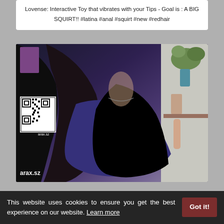Lovense: Interactive Toy that vibrates with your Tips - Goal is : A BIG SQUIRT!! #latina #anal #squirt #new #redhair
[Figure (photo): Webcam screenshot of a woman with long dark hair wearing a dark purple/blue top, with a QR code overlay in upper left and watermark text 'arax.sz' in lower left corner]
This website uses cookies to ensure you get the best experience on our website. Learn more